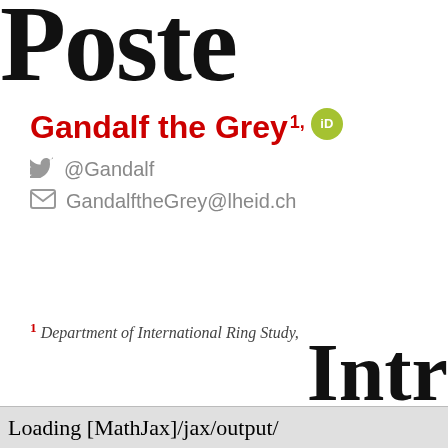Poster
Gandalf the Grey 1, [ORCID]
@Gandalf
GandalftheGrey@lheid.ch
1 Department of International Ring Study,
Intro
Loading [MathJax]/jax/output/